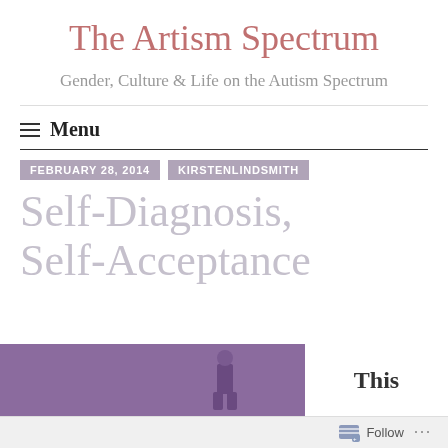The Artism Spectrum
Gender, Culture & Life on the Autism Spectrum
Menu
FEBRUARY 28, 2014   KIRSTENLINDSMITH
Self-Diagnosis, Self-Acceptance
[Figure (photo): Purple background image with a small figurine or illustration]
This
Follow ...